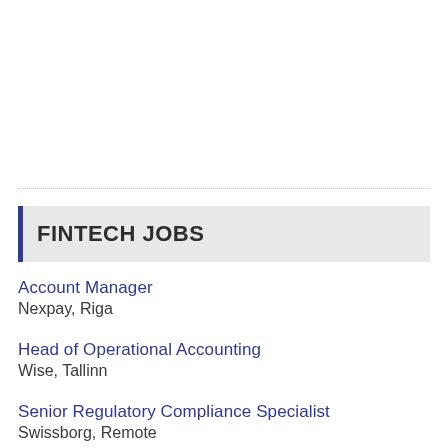FINTECH JOBS
Account Manager
Nexpay, Riga
Head of Operational Accounting
Wise, Tallinn
Senior Regulatory Compliance Specialist
Swissborg, Remote